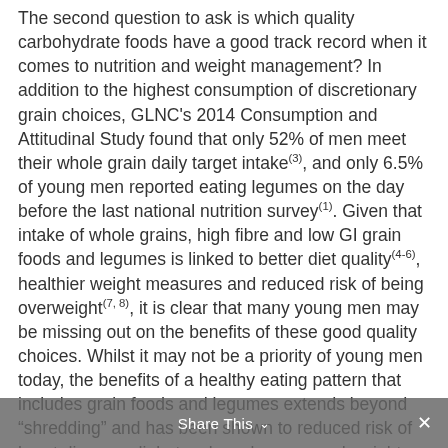The second question to ask is which quality carbohydrate foods have a good track record when it comes to nutrition and weight management? In addition to the highest consumption of discretionary grain choices, GLNC's 2014 Consumption and Attitudinal Study found that only 52% of men meet their whole grain daily target intake(3), and only 6.5% of young men reported eating legumes on the day before the last national nutrition survey(1). Given that intake of whole grains, high fibre and low GI grain foods and legumes is linked to better diet quality(4-6), healthier weight measures and reduced risk of being overweight(7, 8), it is clear that many young men may be missing out on the benefits of these good quality choices. Whilst it may not be a priority of young men today, the benefits of a healthy eating pattern that includes grain foods and legumes extends beyond “shredding” and has been shown to reduced risk of heart disease, diabetes, bowel cancer and weight gain in the long-term(2, 9). So whether your goal is shredding for summer, maintaining weight or increasing muscle mass – make choosing
Share This